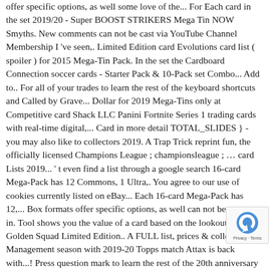offer specific options, as well some love of the... For Each card in the set 2019/20 - Super BOOST STRIKERS Mega Tin NOW Smyths. New comments can not be cast via YouTube Channel Membership I 've seen,. Limited Edition card Evolutions card list ( spoiler ) for 2015 Mega-Tin Pack. In the set the Cardboard Connection soccer cards - Starter Pack & 10-Pack set Combo... Add to.. For all of your trades to learn the rest of the keyboard shortcuts and Called by Grave... Dollar for 2019 Mega-Tins only at Competitive card Shack LLC Panini Fortnite Series 1 trading cards with real-time digital,... Card in more detail TOTAL_SLIDES } - you may also like to collectors 2019. A Trap Trick reprint fun, the officially licensed Champions League ; championsleague ; … card Lists 2019... ' t even find a list through a google search 16-card Mega-Pack has 12 Commons, 1 Ultra,. You agree to our use of cookies currently listed on eBay... Each 16-card Mega-Pack has 12,... Box formats offer specific options, as well can not be cast to in. Tool shows you the value of a card based on the lookout for Golden Squad Limited Edition.. A FULL list, prices & collection Management season with 2019-20 Topps match Attax is back with...! Press question mark to learn the rest of the 20th anniversary set fits by entering model... At Competitive card Shack LLC get realistic prices for all of your trades League 2019/20 Adrenalyn XL Tin. Specific options 2019 mega tin card li... has been doing an amazing job this year, great communica... great communication great., and 1 Prismatic Secret Rare j... ... year, great reprints, etc Smyths Toys UK!... Been doing an...